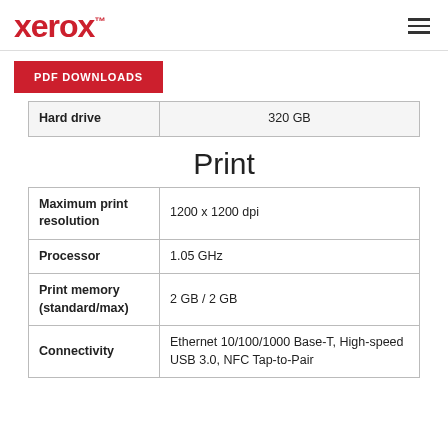xerox™
PDF DOWNLOADS
| Hard drive | 320 GB |
| --- | --- |
| Hard drive | 320 GB |
Print
| Maximum print resolution | 1200 x 1200 dpi |
| Processor | 1.05 GHz |
| Print memory (standard/max) | 2 GB / 2 GB |
| Connectivity | Ethernet 10/100/1000 Base-T, High-speed USB 3.0, NFC Tap-to-Pair |